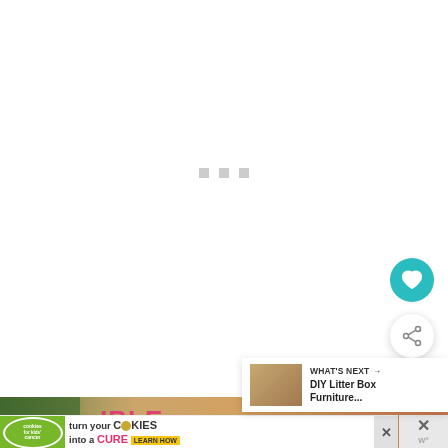[Figure (screenshot): White web page loading area with three small grey dots (loading indicator) centered in the upper portion of the screen]
[Figure (illustration): Teal circular heart/save button (favorite button) on right side of page]
[Figure (illustration): White circular share button with share icon on right side of page]
[Figure (screenshot): WHAT'S NEXT panel showing thumbnail image and text 'DIY Litter Box Furniture...' in bottom right corner]
[Figure (photo): Partial photo strip showing green leaves and a pink/red book or magazine on a wooden surface with partial text visible]
[Figure (screenshot): Advertisement banner at bottom: 'cookies for kids cancer - turn your COOKIES into a CURE LEARN HOW' with X close button]